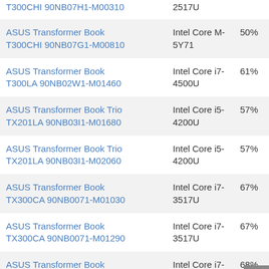| Product | Processor | Rating |
| --- | --- | --- |
| T300CHI 90NB07H1-M00310 (partial) | 2517U (partial) |  |
| ASUS Transformer Book T300CHI 90NB07G1-M00810 | Intel Core M-5Y71 | 50% |
| ASUS Transformer Book T300LA 90NB02W1-M01460 | Intel Core i7-4500U | 61% |
| ASUS Transformer Book Trio TX201LA 90NB03I1-M01680 | Intel Core i5-4200U | 57% |
| ASUS Transformer Book Trio TX201LA 90NB03I1-M02060 | Intel Core i5-4200U | 57% |
| ASUS Transformer Book TX300CA 90NB0071-M01030 | Intel Core i7-3517U | 67% |
| ASUS Transformer Book TX300CA 90NB0071-M01290 | Intel Core i7-3517U | 67% |
| ASUS Transformer Book TX300CA 90NB0071-M02100 | Intel Core i7-3537U | 68% |